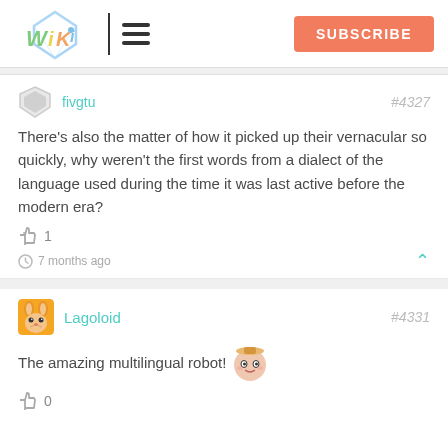[Figure (logo): WikiH logo with colorful text and hexagon/crystal design]
SUBSCRIBE
fivgtu #4327
There's also the matter of how it picked up their vernacular so quickly, why weren't the first words from a dialect of the language used during the time it was last active before the modern era?
👍 1
🕐 7 months ago
Lagoloid #4331
The amazing multilingual robot! 👍 0